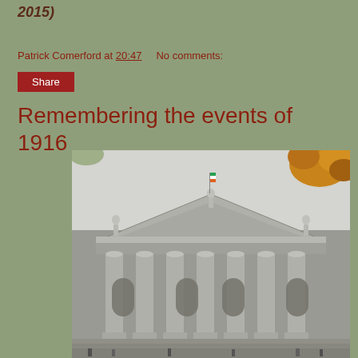2015)
Patrick Comerford at 20:47    No comments:
Share
Remembering the events of 1916
[Figure (photo): Photo of the General Post Office (GPO) in Dublin, a neoclassical building with large columns and statues on the roofline, with autumn leaves visible in the upper right corner and people at the base.]